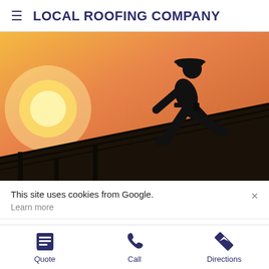LOCAL ROOFING COMPANY
[Figure (photo): Silhouette of a roofer wearing a hard hat, hammering on a rooftop against a warm sunset background with a large sun visible on the left.]
This site uses cookies from Google.
Learn more
Quote  Call  Directions